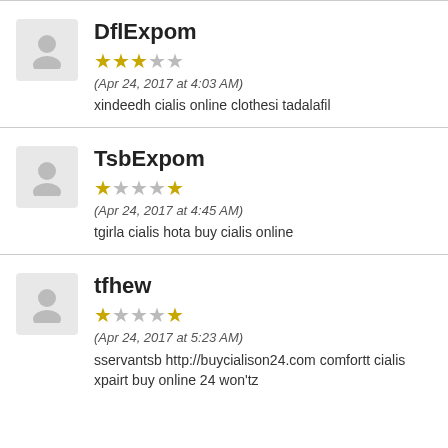DflExpom
★★★☆☆ (3/5 stars)
(Apr 24, 2017 at 4:03 AM)
xindeedh cialis online clothesi tadalafil
TsbExpom
★☆☆☆★ (2/5 stars)
(Apr 24, 2017 at 4:45 AM)
tgirla cialis hota buy cialis online
tfhew
★☆☆☆★ (2/5 stars)
(Apr 24, 2017 at 5:23 AM)
sservantsb http://buycialison24.com comfortt cialis xpairt buy online 24 won'tz